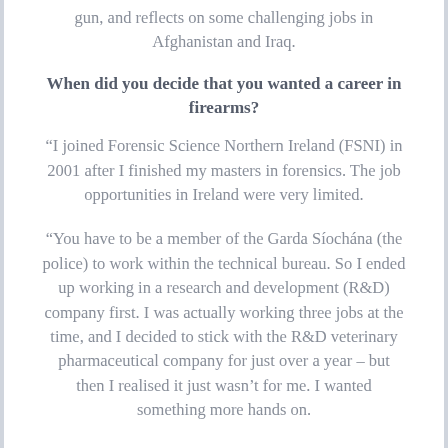gun, and reflects on some challenging jobs in Afghanistan and Iraq.
When did you decide that you wanted a career in firearms?
“I joined Forensic Science Northern Ireland (FSNI) in 2001 after I finished my masters in forensics. The job opportunities in Ireland were very limited.
“You have to be a member of the Garda Síochána (the police) to work within the technical bureau. So I ended up working in a research and development (R&D) company first. I was actually working three jobs at the time, and I decided to stick with the R&D veterinary pharmaceutical company for just over a year – but then I realised it just wasn’t for me. I wanted something more hands on.